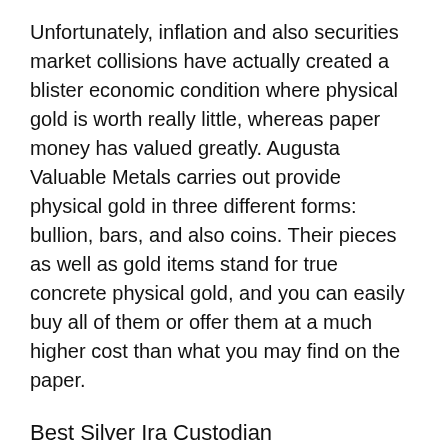Unfortunately, inflation and also securities market collisions have actually created a blister economic condition where physical gold is worth really little, whereas paper money has valued greatly. Augusta Valuable Metals carries out provide physical gold in three different forms: bullion, bars, and also coins. Their pieces as well as gold items stand for true concrete physical gold, and you can easily buy all of them or offer them at a much higher cost than what you may find on the paper.
Best Silver Ira Custodian
Silver and also gold offer peace of mind as well as security to folks. It is not surprising that that these stools are actually looked at